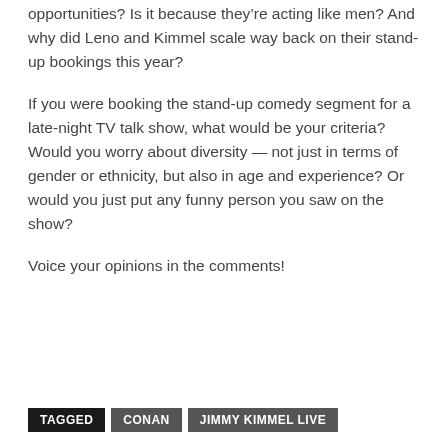opportunities? Is it because they're acting like men? And why did Leno and Kimmel scale way back on their stand-up bookings this year?
If you were booking the stand-up comedy segment for a late-night TV talk show, what would be your criteria? Would you worry about diversity — not just in terms of gender or ethnicity, but also in age and experience? Or would you just put any funny person you saw on the show?
Voice your opinions in the comments!
TAGGED  CONAN  JIMMY KIMMEL LIVE